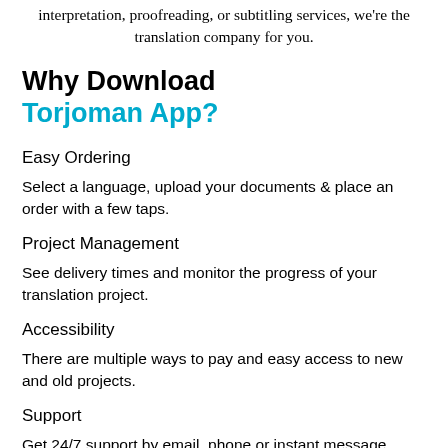interpretation, proofreading, or subtitling services, we're the translation company for you.
Why Download Torjoman App?
Easy Ordering
Select a language, upload your documents & place an order with a few taps.
Project Management
See delivery times and monitor the progress of your translation project.
Accessibility
There are multiple ways to pay and easy access to new and old projects.
Support
Get 24/7 support by email, phone or instant message.
Translations for companies of any size